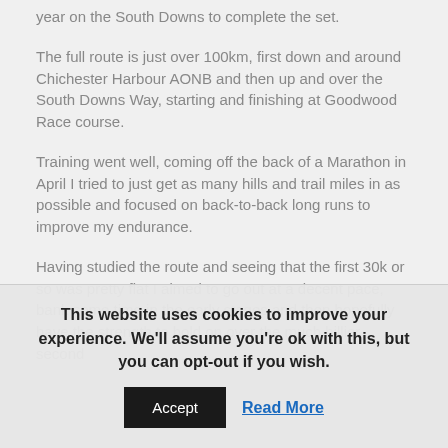year on the South Downs to complete the set.
The full route is just over 100km, first down and around Chichester Harbour AONB and then up and over the South Downs Way, starting and finishing at Goodwood Race course.
Training went well, coming off the back of a Marathon in April I tried to just get as many hills and trail miles in as possible and focused on back-to-back long runs to improve my endurance.
Having studied the route and seeing that the first 30k or so was pretty flat I aimed to go out at a decent pace, bank some time in the early stages and then hopefully have the strength to hold on over the much hillier second
This website uses cookies to improve your experience. We'll assume you're ok with this, but you can opt-out if you wish.
Accept
Read More